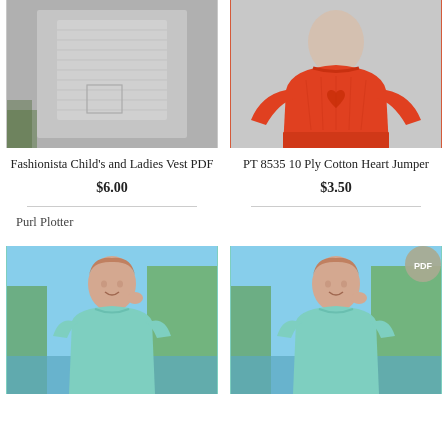[Figure (photo): Grey knitted vest hanging on a rack outdoors]
Fashionista Child's and Ladies Vest PDF
$6.00
[Figure (photo): Woman wearing a red cotton heart jumper]
PT 8535 10 Ply Cotton Heart Jumper
$3.50
Purl Plotter
[Figure (photo): Woman wearing a teal/mint short sleeve knitted top outdoors by a lake]
[Figure (photo): Woman wearing a teal/mint short sleeve knitted top outdoors by a lake, with PDF badge]